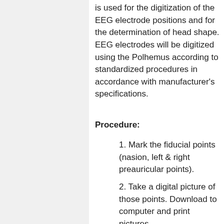is used for the digitization of the EEG electrode positions and for the determination of head shape. EEG electrodes will be digitized using the Polhemus according to standardized procedures in accordance with manufacturer's specifications.
Procedure:
1. Mark the fiducial points (nasion, left & right preauricular points).
2. Take a digital picture of those points. Download to computer and print pictures.
3. Mount the Easy Cap on the subject. *Refer to the